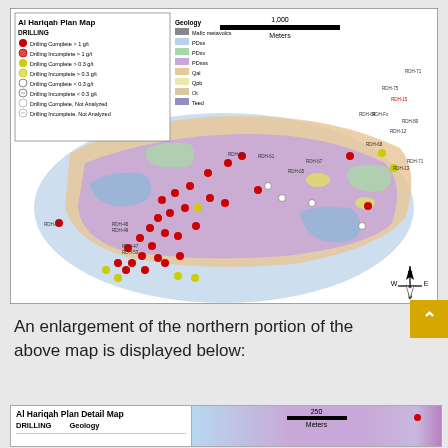[Figure (map): Al Hariqah Plan Map showing drilling locations and geology. Legend shows DRILLING categories (Drilling Complete >1 g/t, Drilling Incomplete >1 g/t, Drilling Complete >0.3 g/t, Drilling Incomplete >0.3 g/t, Drilling Complete <0.3 g/t, Drilling Incomplete <0.3 g/t, Drilling Complete Not Analyzed, Drilling Incomplete Not Analyzed) and Geology categories (Mafic metavolcs, PDss, PDsv, PDsss, Qal, Qpb, Ot, Teed). Scale bar 1,000 Meters. North arrow included.]
An enlargement of the northern portion of the above map is displayed below:
[Figure (map): Al Hariqah Plan Detail Map partial view showing DRILLING and Geology legend headers. Scale bar 250 Meters. Partial map view of northern portion.]